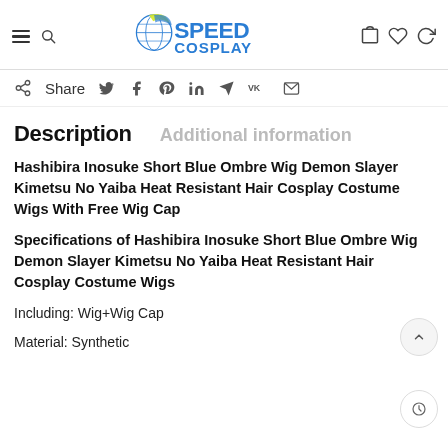SpeedCosplay — navigation header with logo, hamburger menu, search, cart, wishlist, and account icons
Share — social icons: Twitter, Facebook, Pinterest, LinkedIn, Telegram, VK, Email
Description
Additional information
Hashibira Inosuke Short Blue Ombre Wig Demon Slayer Kimetsu No Yaiba Heat Resistant Hair Cosplay Costume Wigs With Free Wig Cap
Specifications of Hashibira Inosuke Short Blue Ombre Wig Demon Slayer Kimetsu No Yaiba Heat Resistant Hair Cosplay Costume Wigs
Including: Wig+Wig Cap
Material: Synthetic